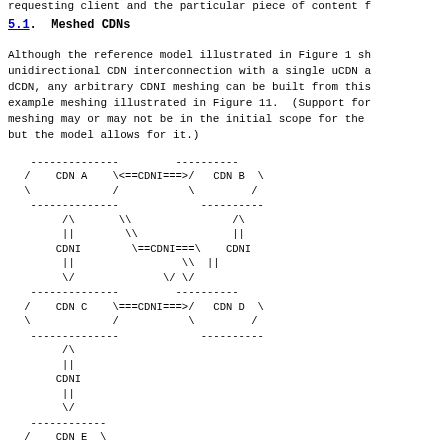requesting client and the particular piece of content f
5.1.  Meshed CDNs
Although the reference model illustrated in Figure 1 sh unidirectional CDN interconnection with a single uCDN a dCDN, any arbitrary CDNI meshing can be built from this example meshing illustrated in Figure 11.  (Support for meshing may or may not be in the initial scope for the but the model allows for it.)
[Figure (schematic): ASCII art diagram showing meshed CDN interconnections between CDN A, CDN B, CDN C, CDN D, and CDN E connected via CDNI links in a mesh topology.]